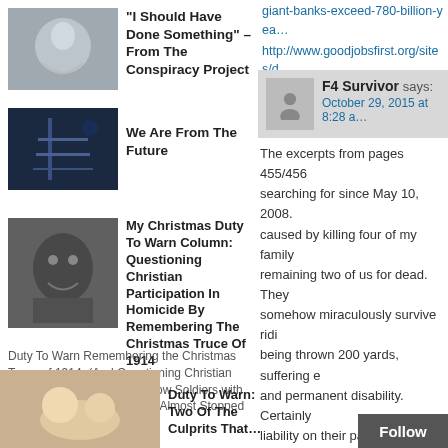giant-banks-exceed-780-billion-yea…
http://www.goodjobsfirst.org/sites/d…
[Figure (photo): Abstract globe/figure image thumbnail]
“I Should Have Done Something” – From The Conspiracy Project
[Figure (photo): Bridge/architecture night photo thumbnail]
We Are From The Future
[Figure (photo): Stone gargoyle or animal close-up thumbnail]
My Christmas Duty To Warn Column: Questioning Christian Participation In Homicide By Remembering The Christmas Truce Of 1914
Duty To Warn Remembering the Christmas Truce of 1914: (And Questioning Christian Participation in Homicide) How Soldiers with Newly Attuned Consciences Almost Stopped a War By
F4 Survivor says: October 29, 2015 at 8:28 a…
The excerpts from pages 455/456 searching for since May 10, 2008. caused by killing four of my family remaining two of us for dead. They somehow miraculously survive ridi being thrown 200 yards, suffering e and permanent disability. Certainly liability on their part. Now to find th fight…
[Figure (photo): Food/hands thumbnail for bottom article]
Duty To Warn: Two Of The Culprits That…
Follow